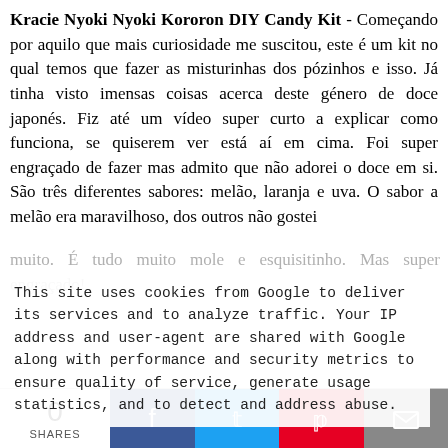Kracie Nyoki Nyoki Kororon DIY Candy Kit - Começando por aquilo que mais curiosidade me suscitou, este é um kit no qual temos que fazer as misturinhas dos pózinhos e isso. Já tinha visto imensas coisas acerca deste género de doce japonés. Fiz até um vídeo super curto a explicar como funciona, se quiserem ver está aí em cima. Foi super engraçado de fazer mas admito que não adorei o doce em si. São três diferentes sabores: melão, laranja e uva. O sabor a melão era maravilhoso, dos outros não gostei muito. É tudo muito mole e esquisitinho. Mas super engraçado!
This site uses cookies from Google to deliver its services and to analyze traffic. Your IP address and user-agent are shared with Google along with performance and security metrics to ensure quality of service, generate usage statistics, and to detect and address abuse.
0 SHARES